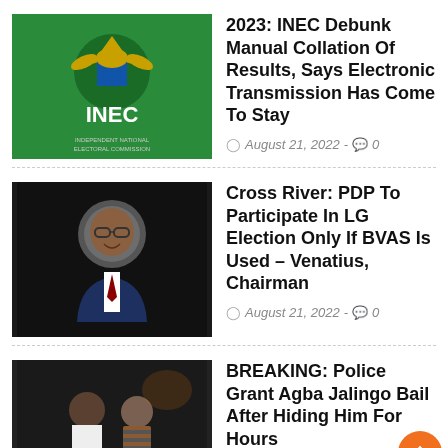[Figure (photo): INEC logo on green background]
2023: INEC Debunk Manual Collation Of Results, Says Electronic Transmission Has Come To Stay
August 21, 2022 - 0
[Figure (photo): Portrait photo of a man in a suit smiling]
Cross River: PDP To Participate In LG Election Only If BVAS Is Used – Venatius, Chairman
August 21, 2022 - 0
[Figure (photo): Two people standing at night outdoors]
BREAKING: Police Grant Agba Jalingo Bail After Hiding Him For Hours
August 20, 2022 - 0
[Figure (logo): SSANU and NASU logos]
SSANU, NASU Suspend Strike After Meeting With Education